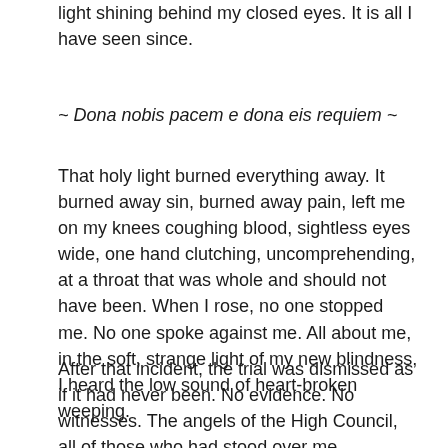light shining behind my closed eyes. It is all I have seen since.
~ Dona nobis pacem e dona eis requiem ~
That holy light burned everything away. It burned away sin, burned away pain, left me on my knees coughing blood, sightless eyes wide, one hand clutching, uncomprehending, at a throat that was whole and should not have been. When I rose, no one stopped me. No one spoke against me. All about me, in the soft, strange light of my new blindness, I heard the low sound of heart-broken weeping.
After that incident, the trial was dismissed as if it had never been. No evidence. No witnesses. The angels of the High Council, all of those who had stood over me, accusing, no longer had the voices to do so. In that one glorious, miraculous moment, when the light touched